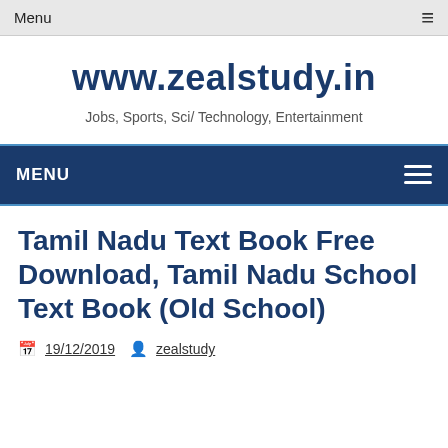Menu ≡
www.zealstudy.in
Jobs, Sports, Sci/ Technology, Entertainment
MENU
Tamil Nadu Text Book Free Download, Tamil Nadu School Text Book (Old School)
19/12/2019   zealstudy